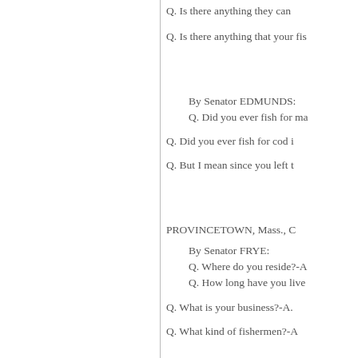Q. Is there anything they can
Q. Is there anything that your fis
By Senator EDMUNDS:
Q. Did you ever fish for ma
Q. Did you ever fish for cod i
Q. But I mean since you left t
PROVINCETOWN, Mass., C
By Senator FRYE:
Q. Where do you reside?-A
Q. How long have you live
Q. What is your business?-A.
Q. What kind of fishermen?-A
EFFECT OF THE TREATIES